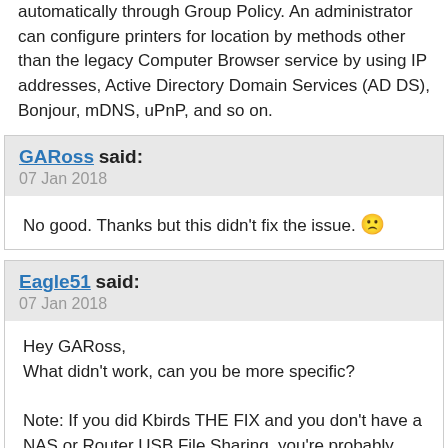automatically through Group Policy. An administrator can configure printers for location by methods other than the legacy Computer Browser service by using IP addresses, Active Directory Domain Services (AD DS), Bonjour, mDNS, uPnP, and so on.
GARoss said:
07 Jan 2018
No good. Thanks but this didn't fix the issue. 🙁
Eagle51 said:
07 Jan 2018
Hey GARoss,
What didn't work, can you be more specific?

Note: If you did Kbirds THE FIX and you don't have a NAS or Router USB File Sharing, you're probably going to have to install the SMBv1 Server.